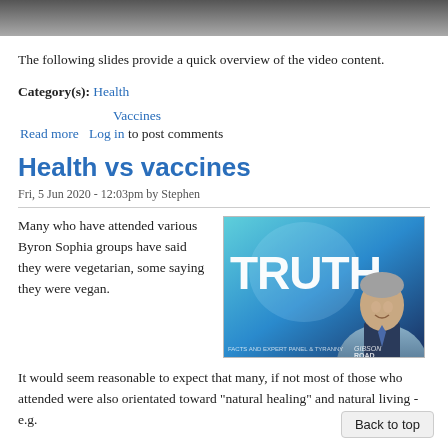[Figure (photo): Top of page partial photo showing dark background, bottom edge of a person]
The following slides provide a quick overview of the video content.
Category(s): Health
Vaccines
Read more   Log in to post comments
Health vs vaccines
Fri, 5 Jun 2020 - 12:03pm by Stephen
Many who have attended various Byron Sophia groups have said they were vegetarian, some saying they were vegan.
[Figure (screenshot): Image with large text TRUTH and a smiling grey-haired man in a suit, teal/blue background, appears to be a video thumbnail]
It would seem reasonable to expect that many, if not most of those who attended were also orientated toward "natural healing" and natural living - e.g.
Back to top